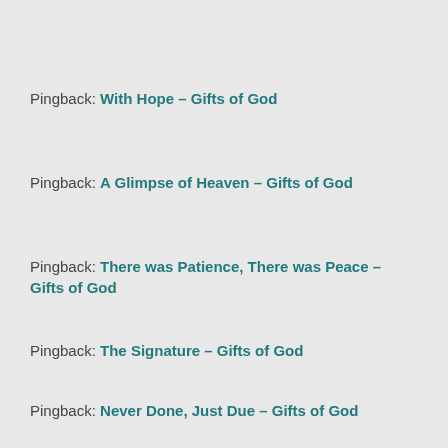Pingback: With Hope – Gifts of God
Pingback: A Glimpse of Heaven – Gifts of God
Pingback: There was Patience, There was Peace – Gifts of God
Pingback: The Signature – Gifts of God
Pingback: Never Done, Just Due – Gifts of God